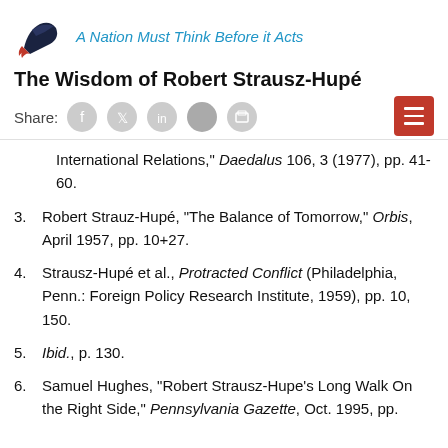A Nation Must Think Before it Acts
The Wisdom of Robert Strausz-Hupé
Share: [social icons] [menu button]
International Relations," Daedalus 106, 3 (1977), pp. 41-60.
3. Robert Strauz-Hupé, "The Balance of Tomorrow," Orbis, April 1957, pp. 10+27.
4. Strausz-Hupé et al., Protracted Conflict (Philadelphia, Penn.: Foreign Policy Research Institute, 1959), pp. 10, 150.
5. Ibid., p. 130.
6. Samuel Hughes, "Robert Strausz-Hupe's Long Walk On the Right Side," Pennsylvania Gazette, Oct. 1995, pp.